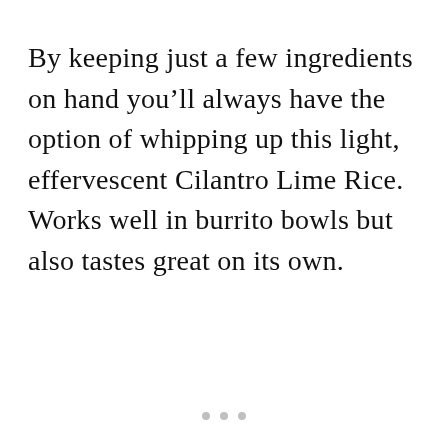By keeping just a few ingredients on hand you'll always have the option of whipping up this light, effervescent Cilantro Lime Rice. Works well in burrito bowls but also tastes great on its own.
• • •